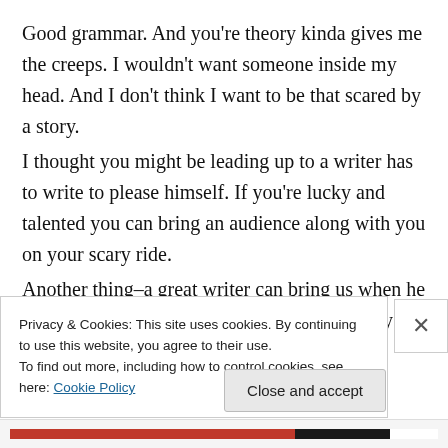Good grammar. And you're theory kinda gives me the creeps. I wouldn't want someone inside my head. And I don't think I want to be that scared by a story.
I thought you might be leading up to a writer has to write to please himself. If you're lucky and talented you can bring an audience along with you on your scary ride.
Another thing–a great writer can bring us when he writes about something nobody thinks is scary or even possible. Who (besides crazy
Privacy & Cookies: This site uses cookies. By continuing to use this website, you agree to their use.
To find out more, including how to control cookies, see here: Cookie Policy
Close and accept